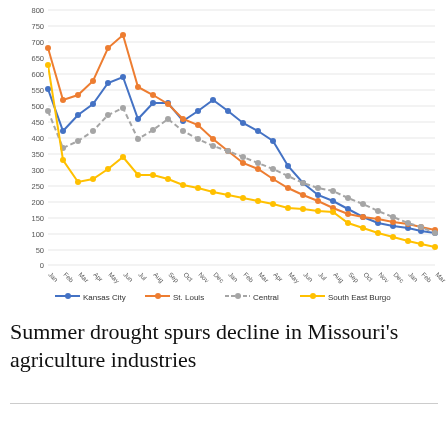[Figure (line-chart): ]
Summer drought spurs decline in Missouri's agriculture industries